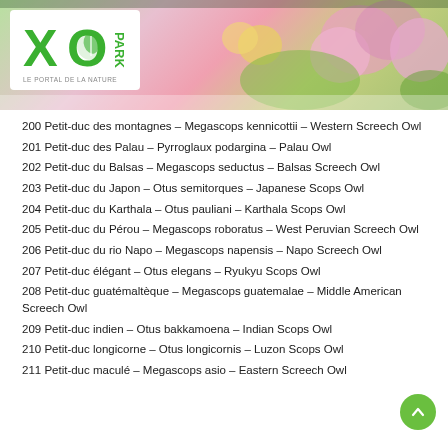[Figure (photo): Header banner with flower garden background (pink and yellow flowers, green foliage) and XO Park logo in white box at top left]
200 Petit-duc des montagnes – Megascops kennicottii – Western Screech Owl
201 Petit-duc des Palau – Pyrroglaux podargina – Palau Owl
202 Petit-duc du Balsas – Megascops seductus – Balsas Screech Owl
203 Petit-duc du Japon – Otus semitorques – Japanese Scops Owl
204 Petit-duc du Karthala – Otus pauliani – Karthala Scops Owl
205 Petit-duc du Pérou – Megascops roboratus – West Peruvian Screech Owl
206 Petit-duc du rio Napo – Megascops napensis – Napo Screech Owl
207 Petit-duc élégant – Otus elegans – Ryukyu Scops Owl
208 Petit-duc guatémaltèque – Megascops guatemalae – Middle American Screech Owl
209 Petit-duc indien – Otus bakkamoena – Indian Scops Owl
210 Petit-duc longicorne – Otus longicornis – Luzon Scops Owl
211 Petit-duc maculé – Megascops asio – Eastern Screech Owl